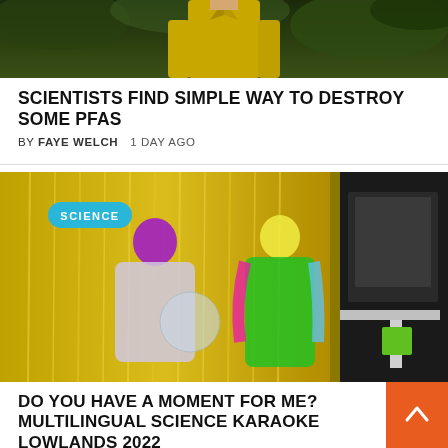[Figure (photo): Person in yellow jacket photographed from mid-torso up against green foliage background]
SCIENTISTS FIND SIMPLE WAY TO DESTROY SOME PFAS
BY FAYE WELCH   1 DAY AGO
[Figure (photo): Two people in colourful festival costumes (pink wig, rainbow feather boa) posing at what appears to be a photo booth with gold tinsel curtain backdrop. SCIENCE badge overlay.]
DO YOU HAVE A MOMENT FOR ME? MULTILINGUAL SCIENCE KARAOKE LOWLANDS 2022